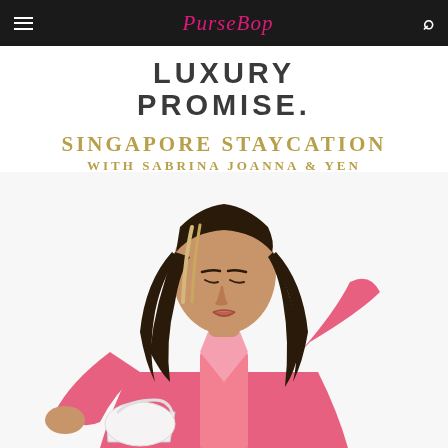PurseBop
LUXURY PROMISE.
SINGAPORE STAYCATION WITH SABRINA JOANNA & YEN
[Figure (photo): Young woman with long wavy brown hair with blonde highlights, wearing a pink blazer/jacket, looking down and holding a white bag. White background.]